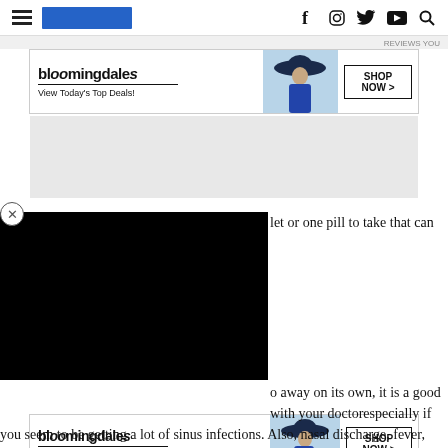Navigation header with hamburger menu, blue logo bar, and social icons (f, Instagram, Twitter, YouTube, Search)
[Figure (screenshot): Bloomingdales advertisement banner: 'bloomingdales / View Today's Top Deals!' with model in blue hat and 'SHOP NOW >' button]
[Figure (photo): Gray placeholder box below top ad banner]
[Figure (photo): Black overlay rectangle covering left portion of content area with X close button]
let or one pill to take that can
away on its own, it is a good with your doctorespecially if you seem to be getting a lot of sinus infections. Also, nasal discharge, fever, congestion or pain that lasts more than 10 days warrants a trip to see your physician.
[Figure (screenshot): Bloomingdales advertisement banner at bottom: 'bloomingdales / View Today's Top Deals!' with model in blue hat and 'SHOP NOW >' button]
Wh